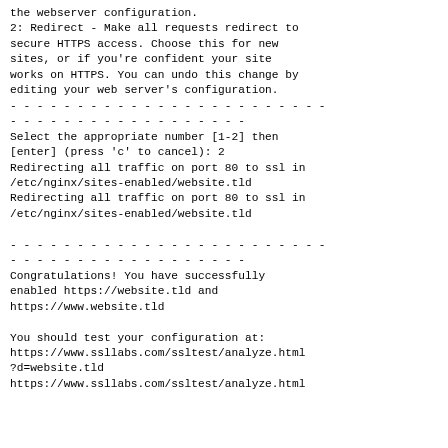the webserver configuration.
2: Redirect - Make all requests redirect to secure HTTPS access. Choose this for new sites, or if you're confident your site works on HTTPS. You can undo this change by editing your web server's configuration.
- - - - - - - - - - - - - - - - - - - - - - - -
- - - - - - - - - - - - - - - - - -
Select the appropriate number [1-2] then [enter] (press 'c' to cancel): 2
Redirecting all traffic on port 80 to ssl in /etc/nginx/sites-enabled/website.tld
Redirecting all traffic on port 80 to ssl in /etc/nginx/sites-enabled/website.tld

- - - - - - - - - - - - - - - - - - - - - - - -
- - - - - - - - - - - - - - - - - -
Congratulations! You have successfully enabled https://website.tld and https://www.website.tld

You should test your configuration at:
https://www.ssllabs.com/ssltest/analyze.html?d=website.tld
https://www.ssllabs.com/ssltest/analyze.html